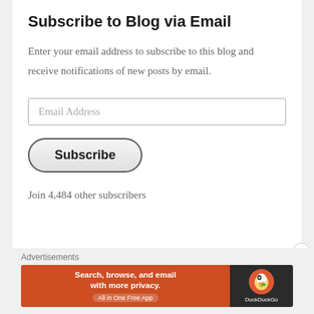Subscribe to Blog via Email
Enter your email address to subscribe to this blog and receive notifications of new posts by email.
Email Address
Subscribe
Join 4,484 other subscribers
Advertisements
[Figure (infographic): DuckDuckGo advertisement banner: orange background on left with text 'Search, browse, and email with more privacy. All in One Free App', dark background on right with DuckDuckGo duck logo and text 'DuckDuckGo']